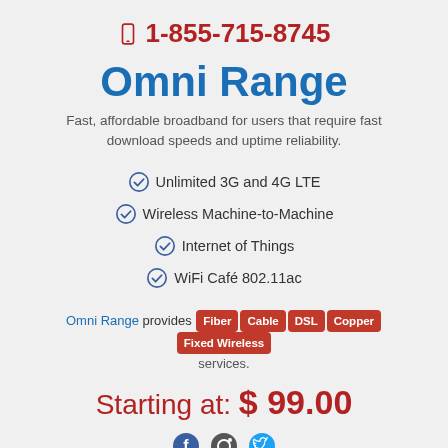1-855-715-8745
Omni Range
Fast, affordable broadband for users that require fast download speeds and uptime reliability.
Unlimited 3G and 4G LTE
Wireless Machine-to-Machine
Internet of Things
WiFi Café 802.11ac
Omni Range provides Fiber Cable DSL Copper Fixed Wireless services.
Starting at: $ 99.00